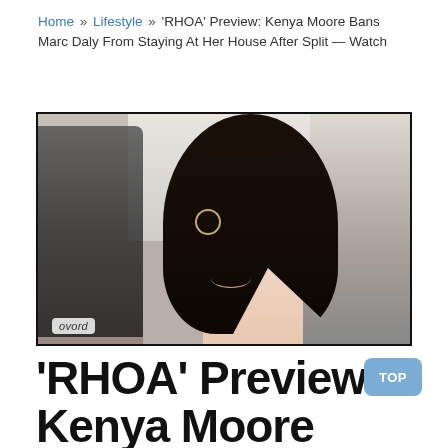Home » Lifestyle » 'RHOA' Preview: Kenya Moore Bans Marc Daly From Staying At Her House After Split — Watch
[Figure (photo): TV screenshot from Bravo showing a woman (Kenya Moore) with long dark hair, wearing a light pink top and hoop earrings, sitting against a blurred kitchen background. A Bravo watermark is visible in the bottom-left corner.]
'RHOA' Preview: Kenya Moore